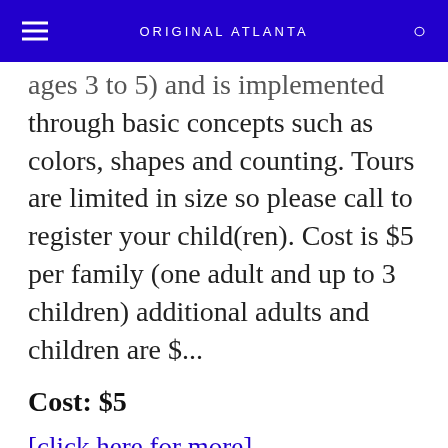ORIGINAL ATLANTA
ages 3 to 5) and is implemented through basic concepts such as colors, shapes and counting. Tours are limited in size so please call to register your child(ren). Cost is $5 per family (one adult and up to 3 children) additional adults and children are $...
Cost: $5
[click here for more]